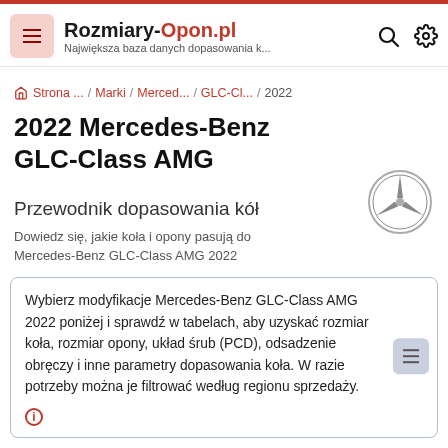Rozmiary-Opon.pl — Największa baza danych dopasowania k...
Strona ... / Marki / Merced... / GLC-Cl... / 2022
2022 Mercedes-Benz GLC-Class AMG
Przewodnik dopasowania kół
Dowiedz się, jakie koła i opony pasują do Mercedes-Benz GLC-Class AMG 2022
Wybierz modyfikacje Mercedes-Benz GLC-Class AMG 2022 poniżej i sprawdź w tabelach, aby uzyskać rozmiar koła, rozmiar opony, układ śrub (PCD), odsadzenie obręczy i inne parametry dopasowania koła. W razie potrzeby można je filtrować według regionu sprzedaży.